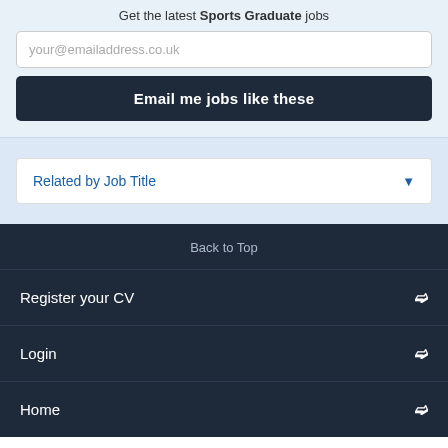Get the latest Sports Graduate jobs
your@emailaddress.co.uk
Email me jobs like these
Related by Job Title
Back to Top
Register your CV
Login
Home